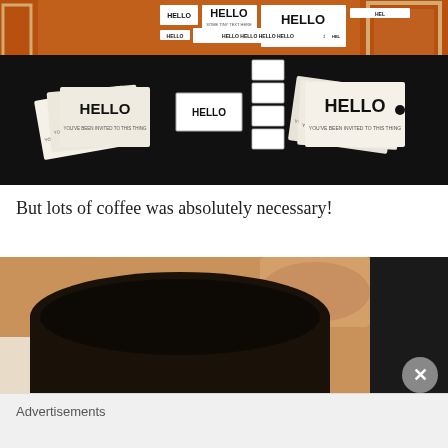[Figure (photo): A black-draped table displaying multiple 'HELLO you've been invited to this thing' cards, a center boxed HELLO item, and stacked white boxes, with a reddish-brown wall and picture frames in the background.]
But lots of coffee was absolutely necessary!
[Figure (photo): Close-up photo of a black ceramic coffee mug resting on a light surface, with a blurred background showing warm earth tones and a dark object to the right.]
Advertisements